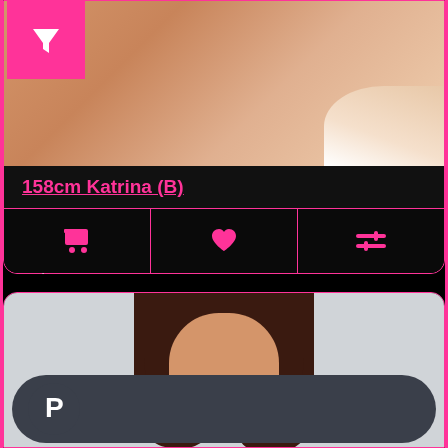[Figure (photo): Close-up photo of a doll or figure with skin-tone body, partial white clothing visible, with a pink filter icon button overlay]
158cm Katrina (B)
Katrina stands at 158cm/5 feet 2.2 inches. Katrina as a 158cm doll has a classic figure. Katrina i..
$2,000.00
[Figure (screenshot): Product card bottom section showing a doll with dark brown hair on grey background, with a PayPal payment button bar overlay]